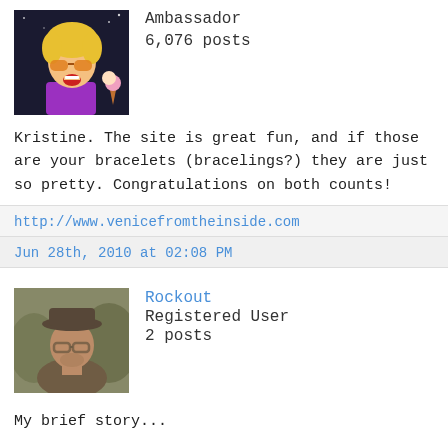[Figure (illustration): Cartoon avatar of a character with blonde hair, orange sunglasses, purple outfit, on a dark background]
Ambassador
6,076 posts
Kristine. The site is great fun, and if those are your bracelets (bracelings?) they are just so pretty. Congratulations on both counts!
http://www.venicefromtheinside.com
Jun 28th, 2010 at 02:08 PM
[Figure (photo): Sepia-toned photo of a man wearing a dark baseball cap and glasses]
Rockout
Registered User
2 posts
My brief story...